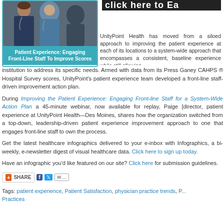[Figure (photo): Photo of medical staff (nurses/doctors) in scrubs and stethoscopes, partially cropped, with teal caption bar reading 'Patient Experience: Engaging Front-Line Staff To Improve Scores']
[Figure (screenshot): Dark banner partially visible at top right reading 'click here to Ea...']
UnityPoint Health has moved from a siloed approach to improving the patient experience at each of its locations to a system-wide approach that encompasses a consistent, baseline experience while still allowing each institution to address its specific needs. Armed with data from its Press Ganey CAHPS ® Hospital Survey scores, UnityPoint's patient experience team developed a front-line staff-driven improvement action plan.
During Improving the Patient Experience: Engaging Front-line Staff for a System-Wide Action Plan a 45-minute webinar, now available for replay, Paige [director, patient experience at UnityPoint Health—Des Moines, shares how the organization switched from a top-down, leadership-driven patient experience improvement approach to one that engages front-line staff to own the process.
Get the latest healthcare infographics delivered to your e-inbox with Infographics, a bi-weekly, e-newsletter digest of visual healthcare data. Click here to sign up today.
Have an infographic you'd like featured on our site? Click here for submission guidelines.
[Figure (infographic): Share bar with SHARE button and social media icons (Facebook, Twitter, Email, more)]
Tags: patient experience, Patient Satisfaction, physician practice trends, P... Practices